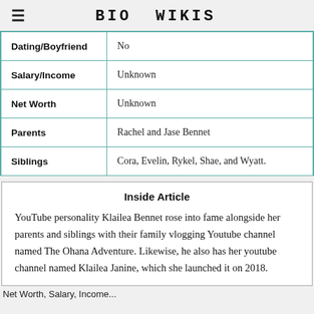BIO WIKIS
| Dating/Boyfriend | No |
| Salary/Income | Unknown |
| Net Worth | Unknown |
| Parents | Rachel and Jase Bennet |
| Siblings | Cora, Evelin, Rykel, Shae, and Wyatt. |
Inside Article
YouTube personality Klailea Bennet rose into fame alongside her parents and siblings with their family vlogging Youtube channel named The Ohana Adventure. Likewise, he also has her youtube channel named Klailea Janine, which she launched it on 2018.
Net Worth, Salary, Income...